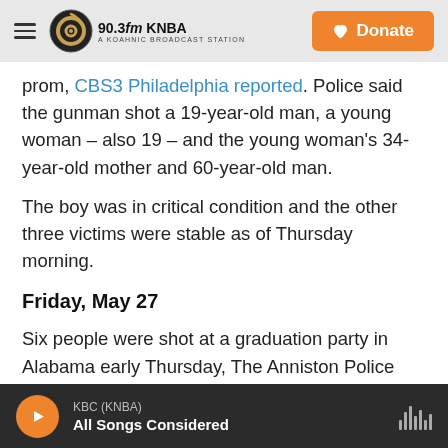90.3fm KNBA — A KOAHNIC BROADCAST STATION | Donate
prom, CBS3 Philadelphia reported. Police said the gunman shot a 19-year-old man, a young woman – also 19 – and the young woman's 34-year-old mother and 60-year-old man.
The boy was in critical condition and the other three victims were stable as of Thursday morning.
Friday, May 27
Six people were shot at a graduation party in Alabama early Thursday, The Anniston Police Department reported on Facebook. None of the
KBC (KNBA) — All Songs Considered